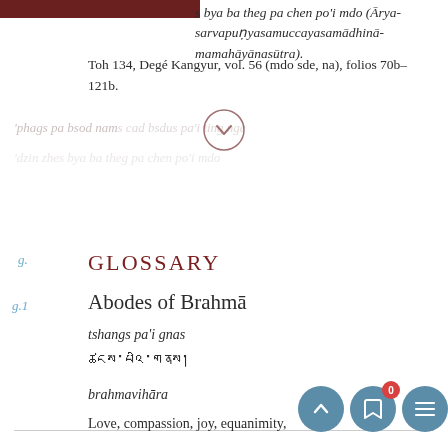s bya ba theg pa chen po'i mdo (Arya-sarvapunyasamuccayasamadhinamamahayana-sutra). Toh 134, Dege Kangyur, vol. 56 (mdo sde, na), folios 70b–121b.
'phags pa bsod nam[s] cad bsdus pa'i ting nge [...]
g. GLOSSARY
g.1 Abodes of Brahma
tshangs pa'i gnas
ཚངས་པའི་གནས།
brahmavihara
Love, compassion, joy, equanimity,